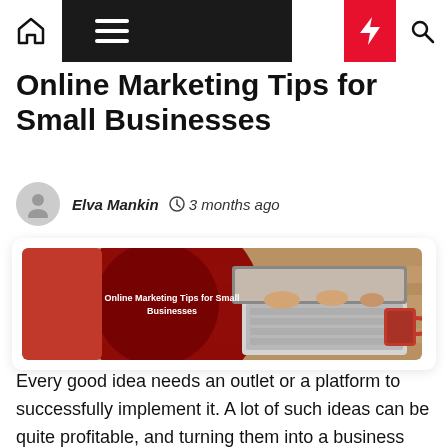Navigation bar with home, menu, moon, bolt, and search icons
Online Marketing Tips for Small Businesses
Elva Mankin  3 months ago
[Figure (photo): Article featured image showing a person typing on a laptop on a wooden desk with a red coffee cup, overlaid with a dark red circle and text reading 'Online Marketing Tips for Small Businesses']
Every good idea needs an outlet or a platform to successfully implement it. A lot of such ideas can be quite profitable, and turning them into a business can be very rewarding. Starting a business requires you to invest a lot of time and